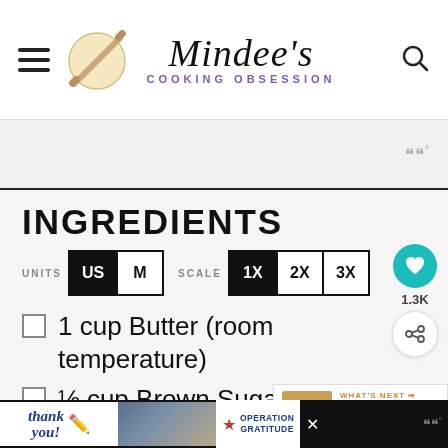Mindee's Cooking Obsession
INGREDIENTS
UNITS US M  SCALE 1X 2X 3X
1 cup Butter (room temperature)
½ cup Brown Sugar